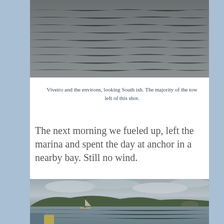[Figure (photo): Ocean water surface looking south, grey choppy water filling the entire frame]
Viveiro and the environs, looking South ish. The majority of the tow left of this shot.
The next morning we fueled up, left the marina and spent the day at anchor in a nearby bay. Still no wind.
[Figure (photo): A bay with a sailboat at anchor, green hills and a small rocky island in the background under overcast skies, viewed from a boat deck]